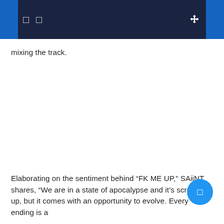navigation bar with icons
mixing the track.
Elaborating on the sentiment behind “FK ME UP,” SAiiNT shares, “We are in a state of apocalypse and it’s screwed up, but it comes with an opportunity to evolve. Every ending is a